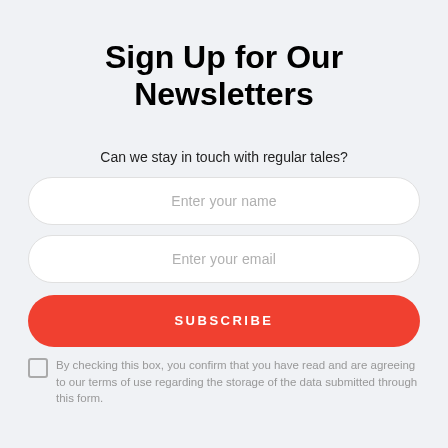Sign Up for Our Newsletters
Can we stay in touch with regular tales?
Enter your name
Enter your email
SUBSCRIBE
By checking this box, you confirm that you have read and are agreeing to our terms of use regarding the storage of the data submitted through this form.